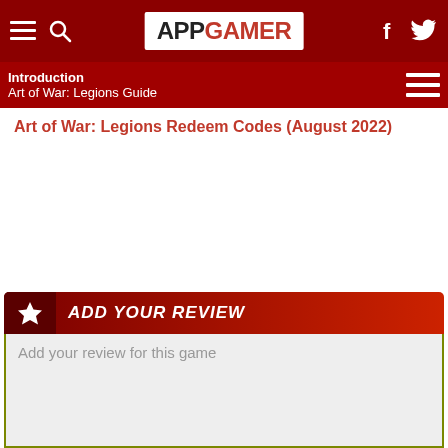APPGAMER navigation bar with menu, search, logo, Facebook and Twitter icons
Introduction
Art of War: Legions Guide
Art of War: Legions Redeem Codes (August 2022)
ADD YOUR REVIEW
Add your review for this game